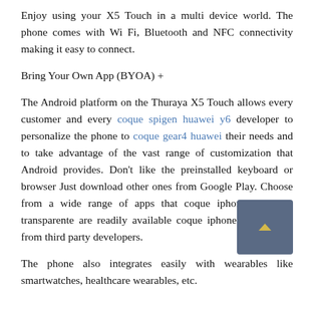Enjoy using your X5 Touch in a multi device world. The phone comes with Wi Fi, Bluetooth and NFC connectivity making it easy to connect.
Bring Your Own App (BYOA) +
The Android platform on the Thuraya X5 Touch allows every customer and every coque spigen huawei y6 developer to personalize the phone to coque gear4 huawei their needs and to take advantage of the vast range of customization that Android provides. Don't like the preinstalled keyboard or browser Just download other ones from Google Play. Choose from a wide range of apps that coque iphone 5s apple transparente are readily available coque iphone 6 photobox from third party developers.
The phone also integrates easily with wearables like smartwatches, healthcare wearables, etc.